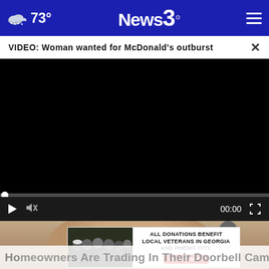73° News 3
VIDEO: Woman wanted for McDonald's outburst ×
[Figure (screenshot): Black video player area with progress bar and controls showing 00:00 timestamp]
[Figure (photo): Partial face/head visible below video controls]
[Figure (infographic): Advertisement: ALL DONATIONS BENEFIT LOCAL VETERANS IN GEORGIA AND PHENIX CITY. DONATE NOW button. Shows group photo of people in black uniforms.]
Homeowners Are Trading In Their Doorbell Cams